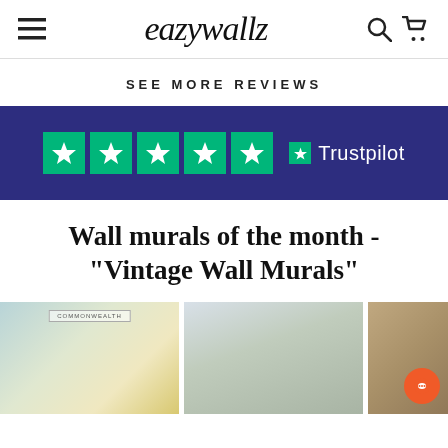eazywallz
SEE MORE REVIEWS
[Figure (logo): Trustpilot logo with 5 green star rating on dark blue/navy background banner]
Wall murals of the month - "Vintage Wall Murals"
[Figure (photo): Three vintage wall mural product images shown side by side: a world map mural, a misty trees/forest mural, and a third vintage-style mural (partially visible)]